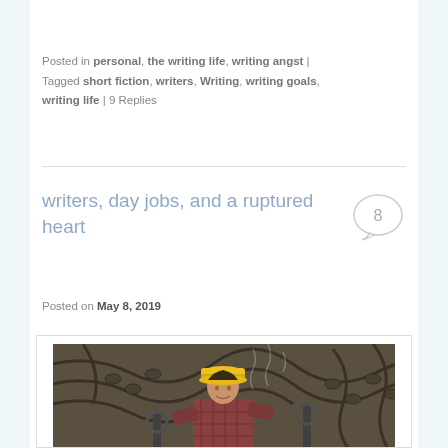Posted in personal, the writing life, writing angst | Tagged short fiction, writers, Writing, writing goals, writing life | 9 Replies
writers, day jobs, and a ruptured heart
Posted on May 8, 2019
[Figure (photo): Photo of a worker wearing a yellow hard hat and plaid shirt working with industrial machinery and chains]